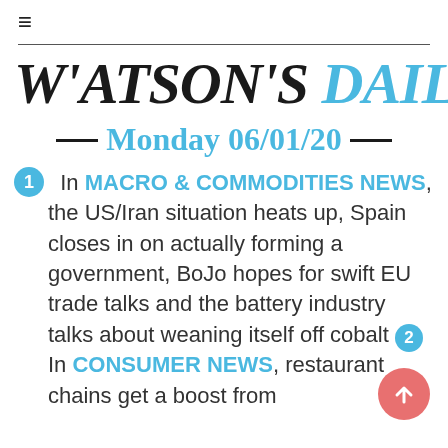≡
WATSON'S DAILY
Monday 06/01/20
1 In MACRO & COMMODITIES NEWS, the US/Iran situation heats up, Spain closes in on actually forming a government, BoJo hopes for swift EU trade talks and the battery industry talks about weaning itself off cobalt
2 In CONSUMER NEWS, restaurant chains get a boost from